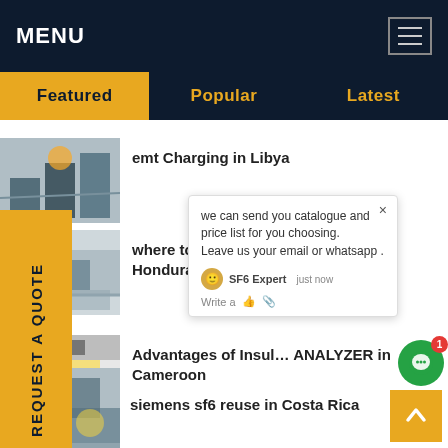MENU
Featured | Popular | Latest
emt Charging in Libya
where to buy Insulated … ns in Honduras
Advantages of Insul… ANALYZER in Cameroon
manufacture sf6 Alternatives dew point in Nicaragua
siemens sf6 reuse in Costa Rica
Highly sensitive gis sf6 Refill Kit in…
REQUEST A QUOTE
[Figure (screenshot): Chat popup with SF6 Expert agent showing message: we can send you catalogue and price list for you choosing. Leave us your email or whatsapp.]